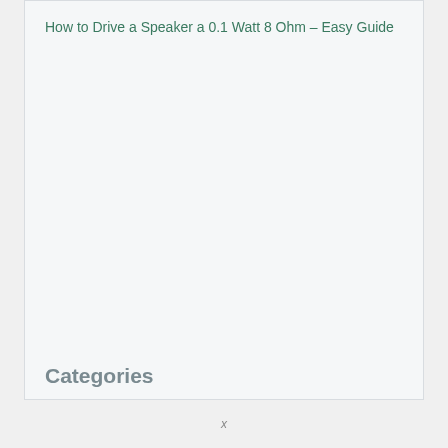How to Drive a Speaker a 0.1 Watt 8 Ohm – Easy Guide
Categories